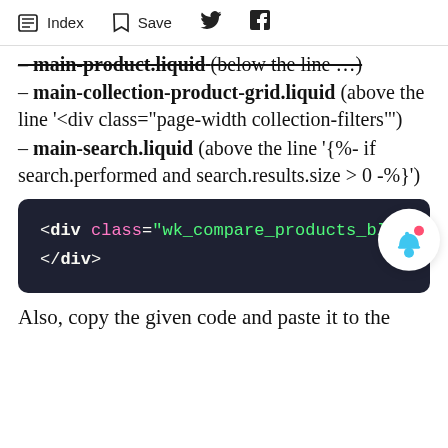Index  Save
– main-product.liquid (below the line …)
– main-collection-product-grid.liquid (above the line '<div class="page-width collection-filters"')
– main-search.liquid (above the line '{%- if search.performed and search.results.size > 0 -%}')
[Figure (screenshot): Dark code block showing: <div class="wk_compare_products_blo... and </div>]
Also, copy the given code and paste it to the